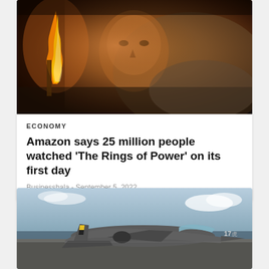[Figure (photo): A young man with serious expression lit by firelight, holding a torch or flame, dressed in brownish/grey clothing. Dark dramatic background.]
ECONOMY
Amazon says 25 million people watched 'The Rings of Power' on its first day
Businesshala - September 5, 2022
[Figure (photo): A military jet aircraft (Harrier-style) on what appears to be an aircraft carrier deck, with ocean and clouds in the background. The aircraft has markings including the number 17.]